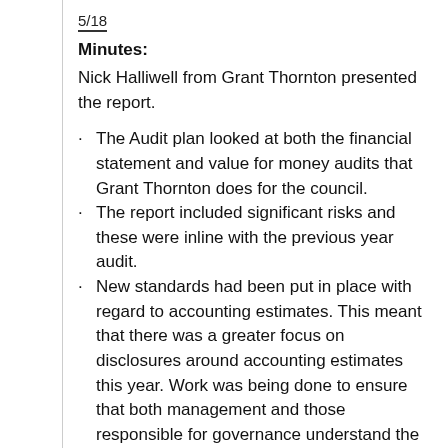5/18
Minutes:
Nick Halliwell from Grant Thornton presented the report.
The Audit plan looked at both the financial statement and value for money audits that Grant Thornton does for the council.
The report included significant risks and these were inline with the previous year audit.
New standards had been put in place with regard to accounting estimates. This meant that there was a greater focus on disclosures around accounting estimates this year. Work was being done to ensure that both management and those responsible for governance understand the estimates in place at the council.